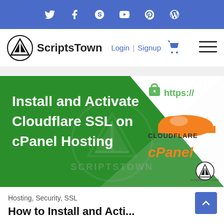Social icons bar: Twitter, Facebook, Skype, YouTube, Pinterest, WordPress
[Figure (logo): ScriptsTown logo with navigation: Login | Signup, cart icon, hamburger menu]
[Figure (illustration): Hero banner: Install and Activate Cloudflare SSL on cPanel Hosting. Shows green diagonal design with https:// padlock, Cloudflare orange cloud logo, cPanel orange text logo, and ScriptsTown watermark.]
Hosting, Security, SSL
How to Install and Activate…